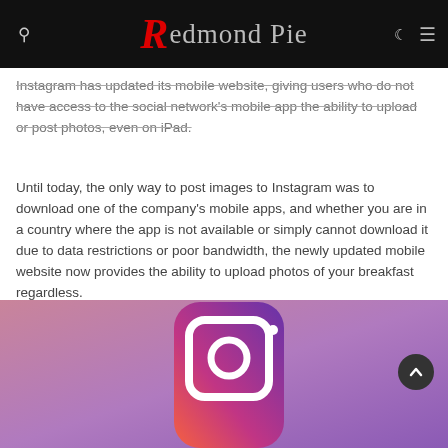Redmond Pie
Instagram has updated its mobile website, giving users who do not have access to the social network's mobile app the ability to upload or post photos, even on iPad.
Until today, the only way to post images to Instagram was to download one of the company's mobile apps, and whether you are in a country where the app is not available or simply cannot download it due to data restrictions or poor bandwidth, the newly updated mobile website now provides the ability to upload photos of your breakfast regardless.
[Figure (photo): Instagram app icon on a purple-pink gradient background, showing the camera icon with a white rounded square shape.]